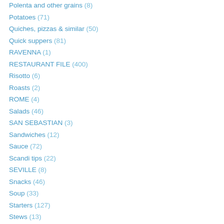Polenta and other grains (8)
Potatoes (71)
Quiches, pizzas & similar (50)
Quick suppers (81)
RAVENNA (1)
RESTAURANT FILE (400)
Risotto (6)
Roasts (2)
ROME (4)
Salads (46)
SAN SEBASTIAN (3)
Sandwiches (12)
Sauce (72)
Scandi tips (22)
SEVILLE (8)
Snacks (46)
Soup (33)
Starters (127)
Stews (13)
STOCKHOLM (9)